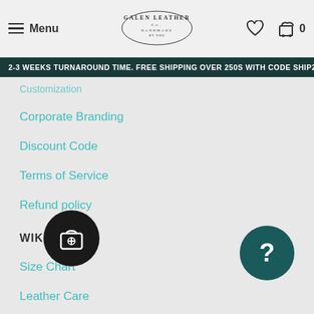Menu | Galen Leather Co. | [heart] [cart] 0
2-3 WEEKS TURNAROUND TIME. FREE SHIPPING OVER 250S WITH CODE SHIP25
Customization
Corporate Branding
Discount Code
Terms of Service
Refund policy
WIKI
Size Chart
Leather Care
Vegan Leather
Leather Grades